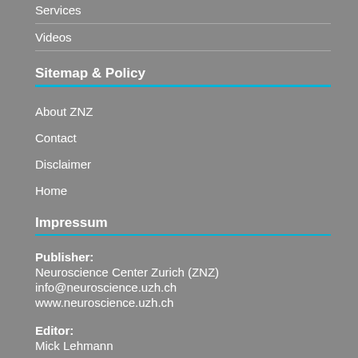Services
Videos
Sitemap & Policy
About ZNZ
Contact
Disclaimer
Home
Impressum
Publisher:
Neuroscience Center Zurich (ZNZ)
info@neuroscience.uzh.ch
www.neuroscience.uzh.ch
Editor:
Mick Lehmann
Site manager: